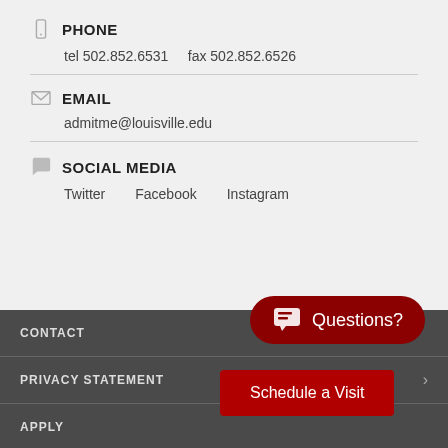PHONE
tel 502.852.6531    fax 502.852.6526
EMAIL
admitme@louisville.edu
SOCIAL MEDIA
Twitter   Facebook   Instagram
CONTACT
PRIVACY STATEMENT
APPLY
[Figure (other): Questions? chat button (red pill shape with chat icon)]
[Figure (other): Schedule a Visit red button]